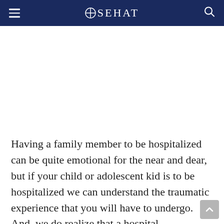SEHAT
Having a family member to be hospitalized can be quite emotional for the near and dear, but if your child or adolescent kid is to be hospitalized we can understand the traumatic experience that you will have to undergo. And, we do realize that a hospital environment can be quite frightening - not